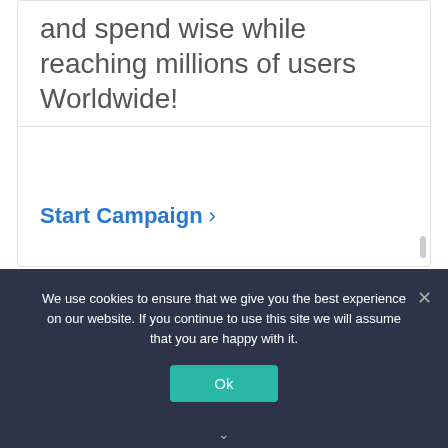and spend wise while reaching millions of users Worldwide!
Start Campaign >
We use cookies to ensure that we give you the best experience on our website. If you continue to use this site we will assume that you are happy with it.
Ok